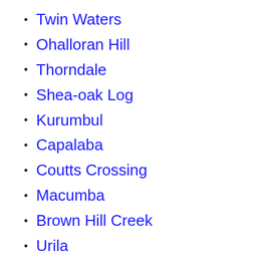Twin Waters
Ohalloran Hill
Thorndale
Shea-oak Log
Kurumbul
Capalaba
Coutts Crossing
Macumba
Brown Hill Creek
Urila